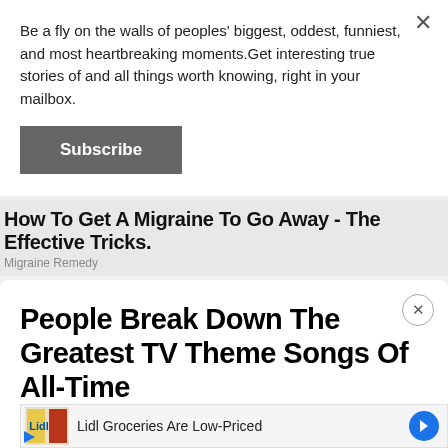Be a fly on the walls of peoples' biggest, oddest, funniest, and most heartbreaking moments.Get interesting true stories of and all things worth knowing, right in your mailbox.
Subscribe
How To Get A Migraine To Go Away - The Effective Tricks.
Migraine Remedy
People Break Down The Greatest TV Theme Songs Of All-Time
By John Curtis
Lidl Groceries Are Low-Priced